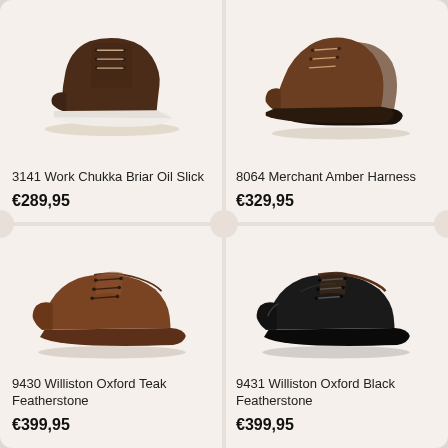[Figure (photo): Brown leather work chukka boot with white crepe sole, Red Wing style, viewed from side angle]
3141 Work Chukka Briar Oil Slick
€289,95
[Figure (photo): Brown leather merchant shoe with dark sole, Red Wing style, viewed from side angle with two shoes visible]
8064 Merchant Amber Harness
€329,95
[Figure (photo): Brown leather oxford derby shoe with laces, Red Wing Williston style, teak featherstone leather]
9430 Williston Oxford Teak Featherstone
€399,95
[Figure (photo): Black leather oxford derby shoe with laces, Red Wing Williston style, black featherstone leather]
9431 Williston Oxford Black Featherstone
€399,95